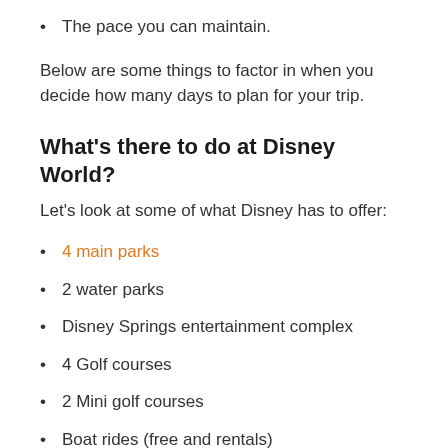The pace you can maintain.
Below are some things to factor in when you decide how many days to plan for your trip.
What's there to do at Disney World?
Let's look at some of what Disney has to offer:
4 main parks
2 water parks
Disney Springs entertainment complex
4 Golf courses
2 Mini golf courses
Boat rides (free and rentals)
Park tours